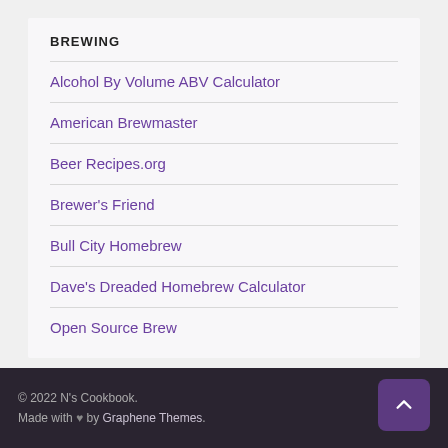BREWING
Alcohol By Volume ABV Calculator
American Brewmaster
Beer Recipes.org
Brewer's Friend
Bull City Homebrew
Dave's Dreaded Homebrew Calculator
Open Source Brew
© 2022 N's Cookbook. Made with ♥ by Graphene Themes.